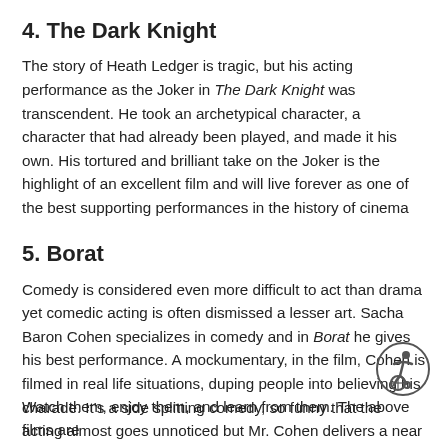4. The Dark Knight
The story of Heath Ledger is tragic, but his acting performance as the Joker in The Dark Knight was transcendent. He took an archetypical character, a character that had already been played, and made it his own. His tortured and brilliant take on the Joker is the highlight of an excellent film and will live forever as one of the best supporting performances in the history of cinema
5. Borat
Comedy is considered even more difficult to act than drama yet comedic acting is often dismissed a lesser art. Sacha Baron Cohen specializes in comedy and in Borat he gives his best performance. A mockumentary, in the film, Cohen is filmed in real life situations, duping people into believing his charade. It's a side splitting comedy, so funny that the acting almost goes unnoticed but Mr. Cohen delivers a near perfect comedic character.
Watch them, enjoy them, and learn from them. The above films are